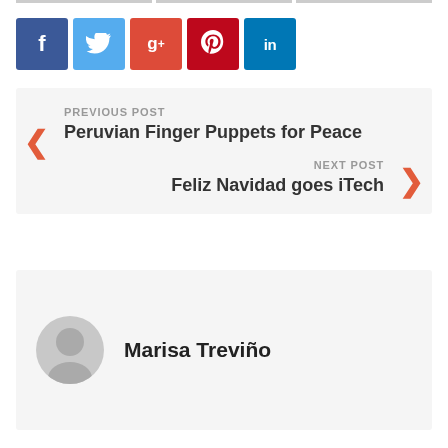[Figure (infographic): Social share buttons: Facebook (blue), Twitter (light blue), Google+ (red-orange), Pinterest (red), LinkedIn (teal)]
PREVIOUS POST
Peruvian Finger Puppets for Peace
NEXT POST
Feliz Navidad goes iTech
Marisa Treviño